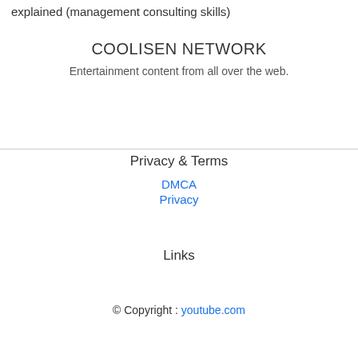explained (management consulting skills)
COOLISEN NETWORK
Entertainment content from all over the web.
Privacy & Terms
DMCA
Privacy
Links
© Copyright : youtube.com